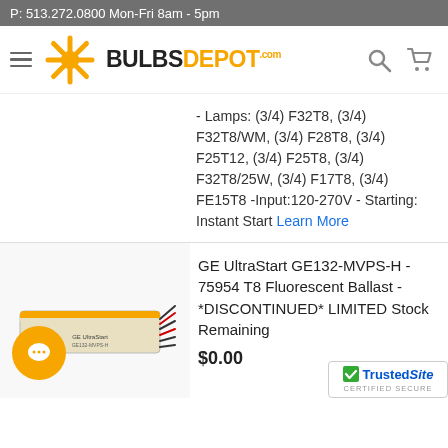P: 513.272.0800 Mon-Fri 8am - 5pm
[Figure (logo): BulbsDepot.com logo with orange sunburst icon, hamburger menu, search and cart icons]
- Lamps: (3/4) F32T8, (3/4) F32T8/WM, (3/4) F28T8, (3/4) F25T12, (3/4) F25T8, (3/4) F32T8/25W, (3/4) F17T8, (3/4) FE15T8 -Input:120-270V - Starting: Instant Start Learn More
GE UltraStart GE132-MVPS-H - 75954 T8 Fluorescent Ballast - *DISCONTINUED* LIMITED Stock Remaining
$0.00
[Figure (photo): GE UltraStart T8 Fluorescent Ballast product image]
[Figure (logo): TrustedSite Certified Secure badge]